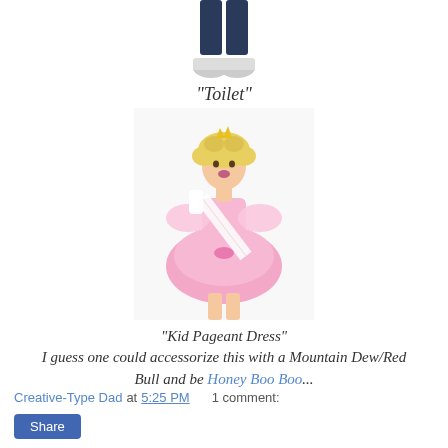[Figure (photo): Lower legs and feet of a person wearing jeans and white sneakers, cropped photo]
"Toilet"
[Figure (photo): Woman in a pink fluffy pageant dress with a sash and crown, posing with hands on hips and one hand raised to face]
"Kid Pageant Dress"
I guess one could accessorize this with a Mountain Dew/Red Bull and be Honey Boo Boo...
Creative-Type Dad at 5:25 PM    1 comment:
Share